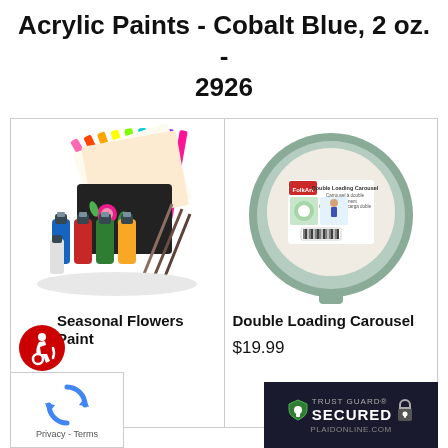Acrylic Paints - Cobalt Blue, 2 oz. - 2926
[Figure (photo): Paint set with multiple acrylic paint bottles, colorful paper sheets, and a black book with floral painting - Seasonal Flowers Paint]
Seasonal Flowers Paint
[Figure (photo): Double Loading Carousel - a round green tray/palette with product label showing demo images and person painting]
Double Loading Carousel
$19.99
[Figure (logo): reCAPTCHA logo with Privacy and Terms text]
[Figure (logo): Trust Guard Secured badge - PLAIDONLINE.COM]